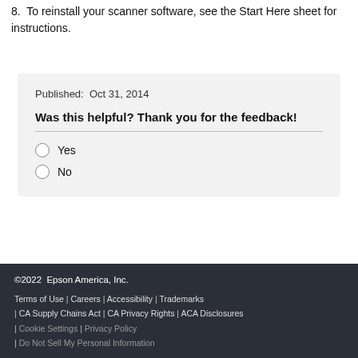8. To reinstall your scanner software, see the Start Here sheet for instructions.
Published: Oct 31, 2014
Was this helpful? Thank you for the feedback!
Yes
No
© 2022 Epson America, Inc. Terms of Use | Careers | Accessibility | Trademarks | CA Supply Chains Act | CA Privacy Rights | ACA Disclosures | Cookie Settings | Privacy Policy | Do Not Sell My Personal Information